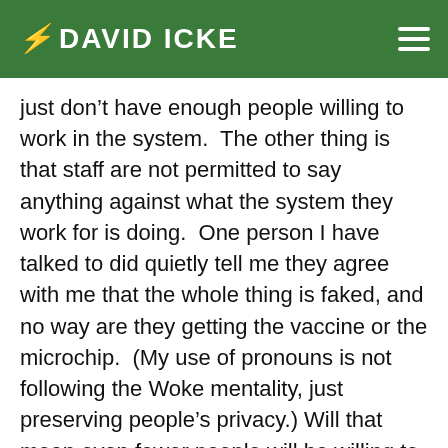DAVID ICKE
just don't have enough people willing to work in the system.  The other thing is that staff are not permitted to say anything against what the system they work for is doing.  One person I have talked to did quietly tell me they agree with me that the whole thing is faked, and no way are they getting the vaccine or the microchip.  (My use of pronouns is not following the Woke mentality, just preserving people's privacy.) Will that mean even fewer people will be willing to work in nursing homes, care will deteriorate further, and that will be used eventually as an excuse for the